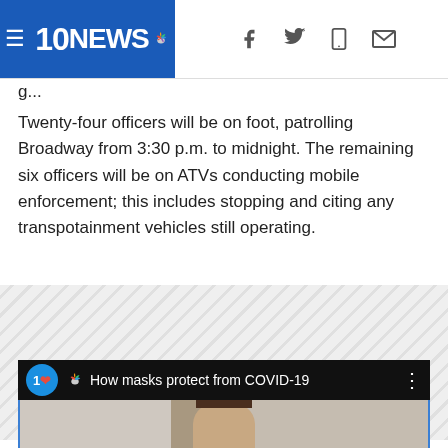10NEWS
Twenty-four officers will be on foot, patrolling Broadway from 3:30 p.m. to midnight. The remaining six officers will be on ATVs conducting mobile enforcement; this includes stopping and citing any transpotainment vehicles still operating.
[Figure (screenshot): Video thumbnail showing '10NEWS How masks protect from COVID-19' with a person's face partially visible]
How masks protect from COVID-19